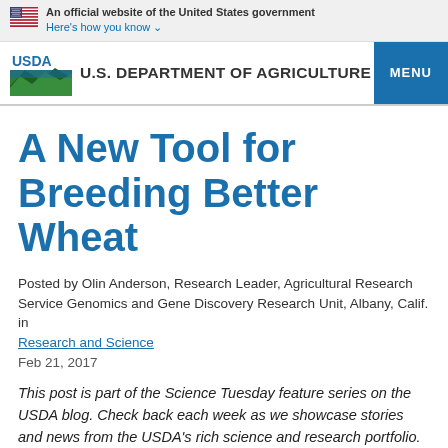An official website of the United States government Here's how you know
[Figure (logo): USDA logo with U.S. Department of Agriculture text and MENU button]
A New Tool for Breeding Better Wheat
Posted by Olin Anderson, Research Leader, Agricultural Research Service Genomics and Gene Discovery Research Unit, Albany, Calif. in Research and Science
Feb 21, 2017
This post is part of the Science Tuesday feature series on the USDA blog. Check back each week as we showcase stories and news from the USDA's rich science and research portfolio.